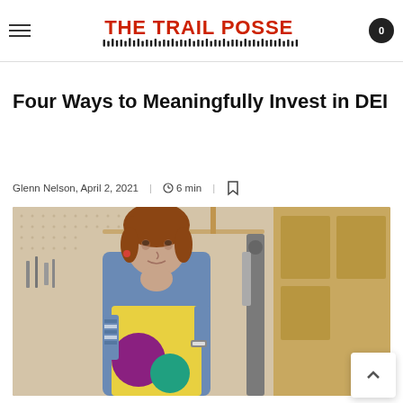THE TRAIL POSSE — navigation header with hamburger menu and cart button showing 0 items
Four Ways to Meaningfully Invest in DEI
Glenn Nelson, April 2, 2021   |   6 min   |
[Figure (photo): A woman in a colorful apron standing in a workshop/makerspace, with tools and equipment visible in the background. She has her hand raised to her chin in a thoughtful pose.]